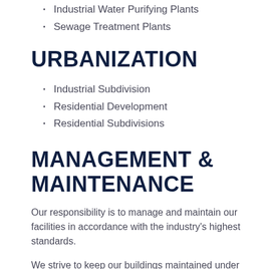Industrial Water Purifying Plants
Sewage Treatment Plants
URBANIZATION
Industrial Subdivision
Residential Development
Residential Subdivisions
MANAGEMENT & MAINTENANCE
Our responsibility is to manage and maintain our facilities in accordance with the industry's highest standards.
We strive to keep our buildings maintained under the